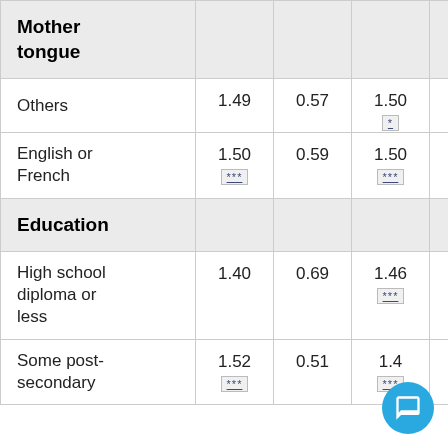|  |  |  |  |  |
| --- | --- | --- | --- | --- |
| Mother tongue |  |  |  |  |
| Others | 1.49 | 0.57 | 1.50
* |  |
| English or French | 1.50
*** | 0.59 | 1.50
*** |  |
| Education |  |  |  |  |
| High school diploma or less | 1.40 | 0.69 | 1.46
*** |  |
| Some post-secondary | 1.52
*** | 0.51 | 1.4*** |  |